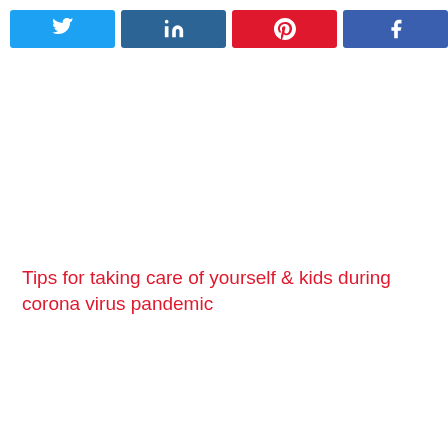[Figure (other): Social media share buttons: Twitter (light blue), LinkedIn (dark blue), Pinterest (red), Facebook (blue)]
Tips for taking care of yourself & kids during corona virus pandemic